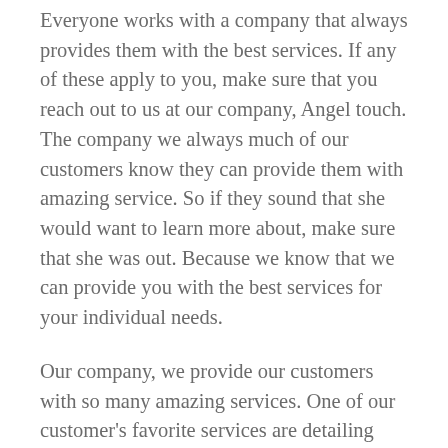Everyone works with a company that always provides them with the best services. If any of these apply to you, make sure that you reach out to us at our company, Angel touch. The company we always much of our customers know they can provide them with amazing service. So if they sound that she would want to learn more about, make sure that she was out. Because we know that we can provide you with the best services for your individual needs.
Our company, we provide our customers with so many amazing services. One of our customer's favorite services are detailing jobs. We do detailing, we have so might impact is free to choose from. You can get a basic detail, detailing, a detailing, a detailing, a detailing, a detailing, a t